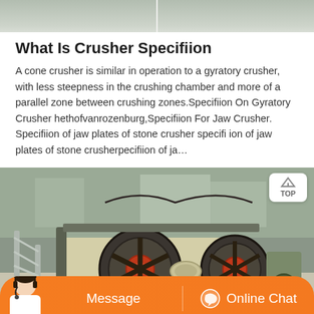[Figure (photo): Top portion of a crusher machine or construction equipment, showing two side-by-side images cropped at the top]
What Is Crusher Specifiion
A cone crusher is similar in operation to a gyratory crusher, with less steepness in the crushing chamber and more of a parallel zone between crushing zones.Specifiion On Gyratory Crusher hethofvanrozenburg,Specifiion For Jaw Crusher. Specifiion of jaw plates of stone crusher specifi ion of jaw plates of stone crusherpecifiion of ja…
[Figure (photo): Industrial jaw crusher machine with large flywheels and pulleys, photographed at a quarry or mining site. A 'TOP' navigation button overlay is visible in the upper right corner. An orange chat bar with a customer service avatar, 'Message' button, and 'Online Chat' button is at the bottom.]